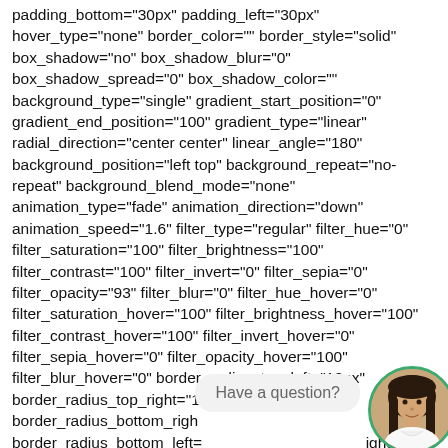padding_bottom="30px" padding_left="30px" hover_type="none" border_color="" border_style="solid" box_shadow="no" box_shadow_blur="0" box_shadow_spread="0" box_shadow_color="" background_type="single" gradient_start_position="0" gradient_end_position="100" gradient_type="linear" radial_direction="center center" linear_angle="180" background_position="left top" background_repeat="no-repeat" background_blend_mode="none" animation_type="fade" animation_direction="down" animation_speed="1.6" filter_type="regular" filter_hue="0" filter_saturation="100" filter_brightness="100" filter_contrast="100" filter_invert="0" filter_sepia="0" filter_opacity="93" filter_blur="0" filter_hue_hover="0" filter_saturation_hover="100" filter_brightness_hover="100" filter_contrast_hover="100" filter_invert_hover="0" filter_sepia_hover="0" filter_opacity_hover="100" filter_blur_hover="0" border_radius_top_left="12px" border_radius_top_right="12px" border_radius_bottom_right= border_radius_bottom_left= ight= border_sizes_bottom="" border_sizes_left="" last="false"
[Figure (photo): Chat bubble overlay showing 'Have a question?' text, with a circular avatar photo of a woman with long dark hair wearing a white top, framed with a green border.]